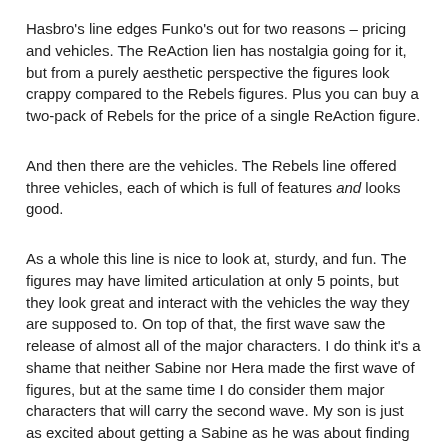Hasbro's line edges Funko's out for two reasons – pricing and vehicles. The ReAction lien has nostalgia going for it, but from a purely aesthetic perspective the figures look crappy compared to the Rebels figures. Plus you can buy a two-pack of Rebels for the price of a single ReAction figure.
And then there are the vehicles. The Rebels line offered three vehicles, each of which is full of features and looks good.
As a whole this line is nice to look at, sturdy, and fun. The figures may have limited articulation at only 5 points, but they look great and interact with the vehicles the way they are supposed to. On top of that, the first wave saw the release of almost all of the major characters. I do think it's a shame that neither Sabine nor Hera made the first wave of figures, but at the same time I do consider them major characters that will carry the second wave. My son is just as excited about getting a Sabine as he was about finding an Ezra.
I know there are technicalities that could disqualify both of these lines. ReAction arguably started at the end of 2013 with Reses The Alien figures and...